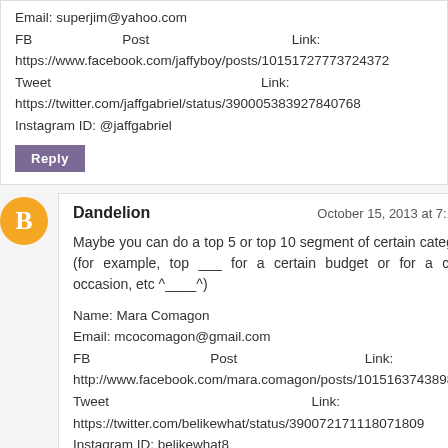Email: superjim@yahoo.com
FB Post Link: https://www.facebook.com/jaffyboy/posts/10151727773724372
Tweet Link: https://twitter.com/jaffgabriel/status/390005383927840768
Instagram ID: @jaffgabriel
Dandelion — October 15, 2013 at 7:17 PM
Maybe you can do a top 5 or top 10 segment of certain categories (for example, top ___ for a certain budget or for a certain occasion, etc ^____^)
Name: Mara Comagon
Email: mcocomagon@gmail.com
FB Post Link: http://www.facebook.com/mara.comagon/posts/10151637438986470
Tweet Link: https://twitter.com/belikewhat/status/390072171118071809
Instagram ID: belikewhat8